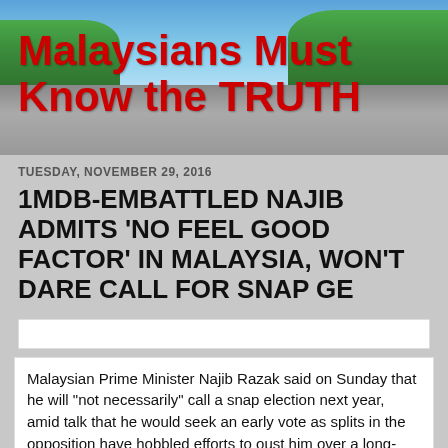[Figure (photo): Blog header banner showing a road stretching into the distance with trees on either side and a blue sky with clouds, overlaid with the blog title text in red.]
Malaysians Must Know the TRUTH
TUESDAY, NOVEMBER 29, 2016
1MDB-EMBATTLED NAJIB ADMITS 'NO FEEL GOOD FACTOR' IN MALAYSIA, WON'T DARE CALL FOR SNAP GE
Malaysian Prime Minister Najib Razak said on Sunday that he will "not necessarily" call a snap election next year, amid talk that he would seek an early vote as splits in the opposition have hobbled efforts to oust him over a long-running financial scandal.
The condition in Southeast Asian economy is described by him as...